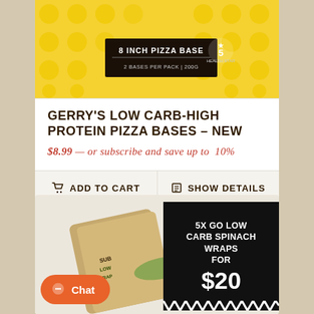[Figure (photo): Product image of Gerry's 8 Inch Pizza Base box — black label with yellow dot pattern, 2 bases per pack]
GERRY'S LOW CARB-HIGH PROTEIN PIZZA BASES – NEW
$8.99 — or subscribe and save up to 10%
ADD TO CART
SHOW DETAILS
[Figure (photo): Product image of Gerry's Sub Low wraps packaging with black overlay panel reading '5X GO LOW CARB SPINACH WRAPS FOR $20']